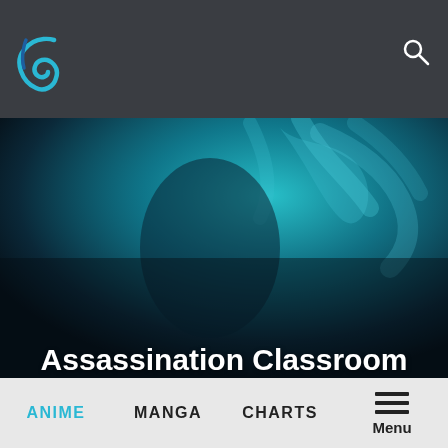[Figure (logo): Website logo — a stylized blue swirl/arc shape on dark grey header background]
[Figure (illustration): Anime character illustration with teal/dark blue color overlay — hero banner image for Assassination Classroom episode article]
Assassination Classroom Episode 6 Preview Images, Video & Synopsis
ANIME   MANGA   CHARTS   Menu